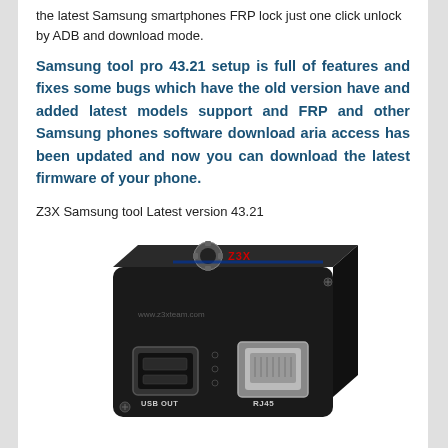the latest Samsung smartphones FRP lock just one click unlock by ADB and download mode.
Samsung tool pro 43.21 setup is full of features and fixes some bugs which have the old version have and added latest models support and FRP and other Samsung phones software download aria access has been updated and now you can download the latest firmware of your phone.
Z3X Samsung tool Latest version 43.21
[Figure (photo): A black hardware device labeled Z3X team with USB OUT and RJ45 ports visible on the front, with the Z3X team logo on top.]